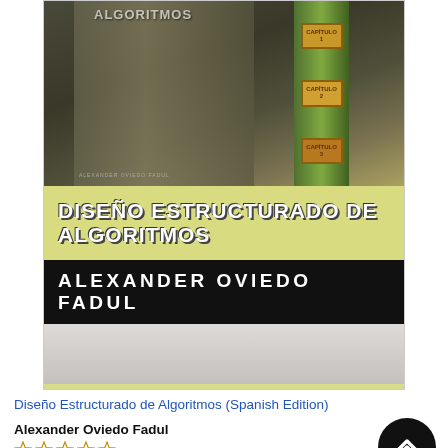[Figure (photo): Book cover image of 'Diseño Estructurado de Algoritmos' by Alexander Oviedo Fadul. Shows the book spine and cover with a yellowish-green background, bold white title text overlaid on the cover, and a black bar with the author name.]
Diseño Estructurado de Algoritmos (Spanish Edition)
Alexander Oviedo Fadul
[Figure (other): Five empty star rating symbols indicating no rating or zero stars]
[Figure (other): Dark blue/teal gradient banner at the bottom of the page]